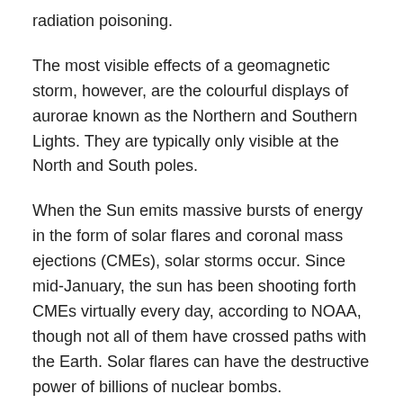radiation poisoning.
The most visible effects of a geomagnetic storm, however, are the colourful displays of aurorae known as the Northern and Southern Lights. They are typically only visible at the North and South poles.
When the Sun emits massive bursts of energy in the form of solar flares and coronal mass ejections (CMEs), solar storms occur. Since mid-January, the sun has been shooting forth CMEs virtually every day, according to NOAA, though not all of them have crossed paths with the Earth. Solar flares can have the destructive power of billions of nuclear bombs.
This article was originally published by Gadgets360.com.